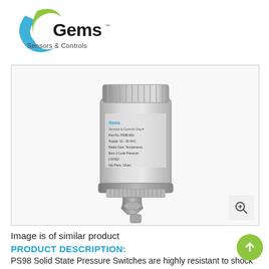[Figure (logo): Gems Sensors & Controls logo with teal/green swoosh graphic]
REQUEST QUOTE   SEARCH   MENU
[Figure (photo): PS98 Solid State Pressure Switch — stainless steel cylindrical sensor with threaded fitting, shown against white background]
Image is of similar product
PRODUCT DESCRIPTION:
PS98 Solid State Pressure Switches are highly resistant to shock and vibration and features no moving parts for reliability. This switch is an ideal alternative to electromechanical types when cycles exceed 50 cycles/minute and broad frequency response is